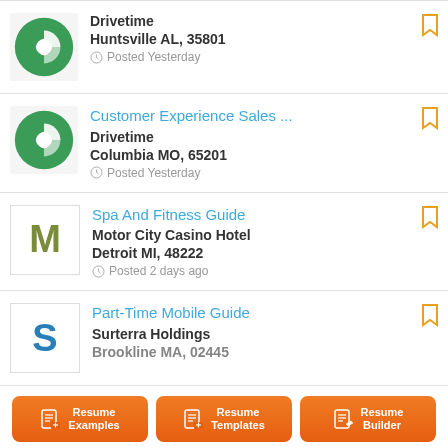Drivetime | Huntsville AL, 35801 | Posted Yesterday
Customer Experience Sales ... | Drivetime | Columbia MO, 65201 | Posted Yesterday
Spa And Fitness Guide | Motor City Casino Hotel | Detroit MI, 48222 | Posted 2 days ago
Part-Time Mobile Guide | Surterra Holdings | Posted ...